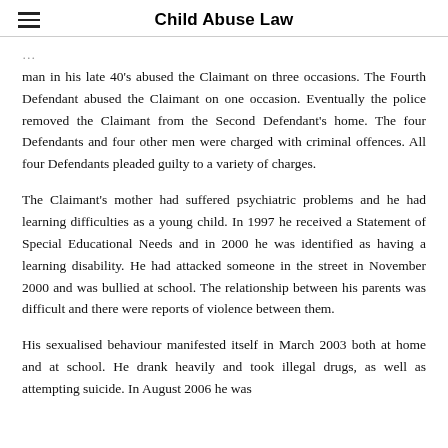Child Abuse Law
man in his late 40’s abused the Claimant on three occasions. The Fourth Defendant abused the Claimant on one occasion. Eventually the police removed the Claimant from the Second Defendant’s home. The four Defendants and four other men were charged with criminal offences. All four Defendants pleaded guilty to a variety of charges.
The Claimant’s mother had suffered psychiatric problems and he had learning difficulties as a young child. In 1997 he received a Statement of Special Educational Needs and in 2000 he was identified as having a learning disability. He had attacked someone in the street in November 2000 and was bullied at school. The relationship between his parents was difficult and there were reports of violence between them.
His sexualised behaviour manifested itself in March 2003 both at home and at school. He drank heavily and took illegal drugs, as well as attempting suicide. In August 2006 he was